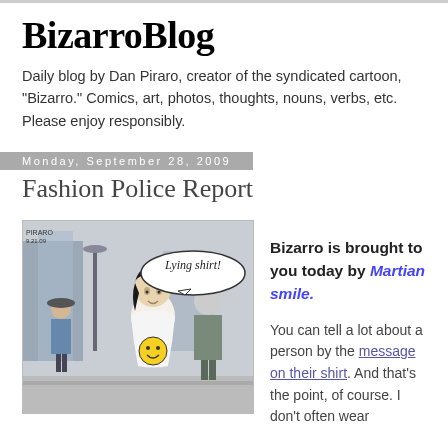BizarroBlog
Daily blog by Dan Piraro, creator of the syndicated cartoon, "Bizarro." Comics, art, photos, thoughts, nouns, verbs, etc. Please enjoy responsibly.
Monday, September 28, 2009
Fashion Police Report
[Figure (illustration): Comic strip panel showing a street scene. A man with dark hair wearing a white shirt with a smiley face looks toward another man in a suit. A speech bubble reads 'Lying shirt!' A third figure in a hat is visible in the background. The Bizarro Comic blog watermark appears on the right side.]
Bizarro is brought to you today by Martian smile.

You can tell a lot about a person by the message on their shirt. And that's the point, of course. I don't often wear